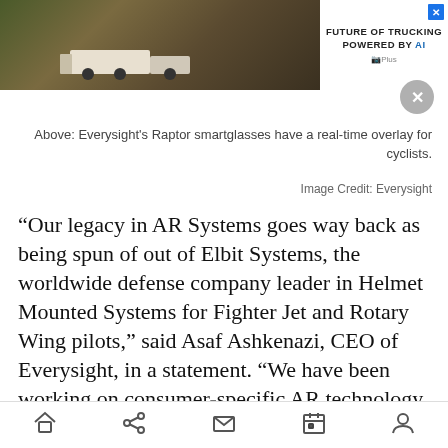[Figure (photo): Advertisement banner: truck on road with mountains/rocks background. Text reads 'FUTURE OF TRUCKING POWERED BY AI' with GPPlus logo.]
Above: Everysight's Raptor smartglasses have a real-time overlay for cyclists.
Image Credit: Everysight
“Our legacy in AR Systems goes way back as being spun of out of Elbit Systems, the worldwide defense company leader in Helmet Mounted Systems for Fighter Jet and Rotary Wing pilots,” said Asaf Ashkenazi, CEO of Everysight, in a statement. “We have been working on consumer-specific AR technology for more than 15 years. And long before Google, Apple, and Facebook, we saw and invested in AR’s transformative potential to alter the way receive and ingest real-time data
Home | Share | Mail | Calendar | Profile